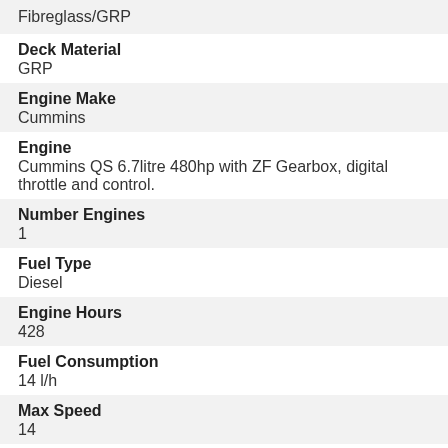Fibreglass/GRP
Deck Material
GRP
Engine Make
Cummins
Engine
Cummins QS 6.7litre 480hp with ZF Gearbox, digital throttle and control.
Number Engines
1
Fuel Type
Diesel
Engine Hours
428
Fuel Consumption
14 l/h
Max Speed
14